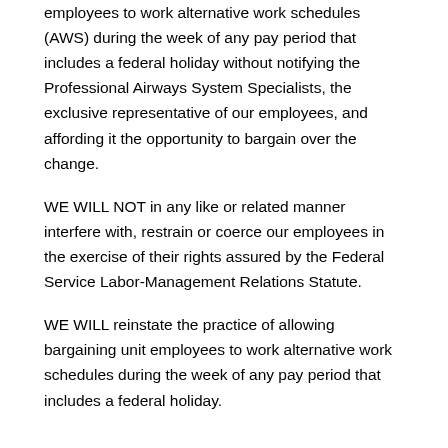employees to work alternative work schedules (AWS) during the week of any pay period that includes a federal holiday without notifying the Professional Airways System Specialists, the exclusive representative of our employees, and affording it the opportunity to bargain over the change.
WE WILL NOT in any like or related manner interfere with, restrain or coerce our employees in the exercise of their rights assured by the Federal Service Labor-Management Relations Statute.
WE WILL reinstate the practice of allowing bargaining unit employees to work alternative work schedules during the week of any pay period that includes a federal holiday.
WE WILL notify and, upon request, bargain with the Professional Airways Systems Specialists on any proposed change in the practice of allowing employees to work